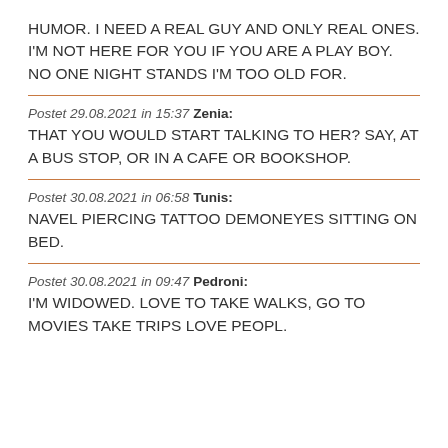HUMOR. I NEED A REAL GUY AND ONLY REAL ONES. I'M NOT HERE FOR YOU IF YOU ARE A PLAY BOY. NO ONE NIGHT STANDS I'M TOO OLD FOR.
Postet 29.08.2021 in 15:37 Zenia: THAT YOU WOULD START TALKING TO HER? SAY, AT A BUS STOP, OR IN A CAFE OR BOOKSHOP.
Postet 30.08.2021 in 06:58 Tunis: NAVEL PIERCING TATTOO DEMONEYES SITTING ON BED.
Postet 30.08.2021 in 09:47 Pedroni: I'M WIDOWED. LOVE TO TAKE WALKS, GO TO MOVIES TAKE TRIPS LOVE PEOPL.